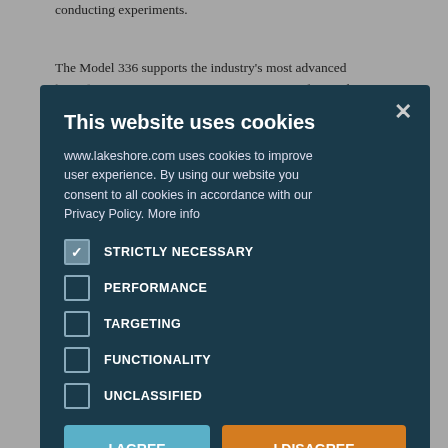conducting experiments. The Model 336 supports the industry's most advanced line of cryogenic temperature sensors as manufactured by Lake Shore, including resistance temperature detectors (RTDs) and thermocouples. The controller's zone-tuning feature allows you to measure and control temperature from cryogenic temperatures to over 1,500 K by automatically switching temperature sensor inputs defined by the temperature range goes beyond the usable range of a given sensor. You'll never again have to be concerned with temperature sensor over or under errors or continuity issues. Alarms, relays, and ±10 V analog voltage outputs are available to help automate secondary control functions. In many applications, the unparalleled feature set of the Model 336 allows you to replace several instruments with one, saving time, money and valuable laboratory space by eliminating more instruments to enter control, and faster cycle times. The Model 336 keeps up with increasing demands of temperature measurement and control applications. It is the ideal solution for general-
[Figure (screenshot): Cookie consent modal dialog overlay on top of the background text. Modal has dark teal/navy background. Title: 'This website uses cookies'. Body text explains www.lakeshore.com uses cookies to improve user experience. Contains checkboxes for STRICTLY NECESSARY (checked), PERFORMANCE, TARGETING, FUNCTIONALITY, UNCLASSIFIED. Two buttons: 'I AGREE' (blue) and 'I DISAGREE' (orange). 'SHOW DETAILS' link with gear icon at bottom. Close X button at top right.]